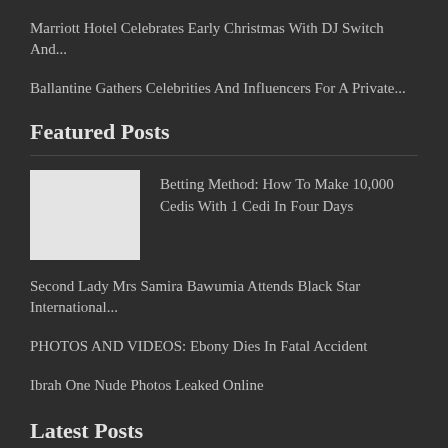Marriott Hotel Celebrates Early Christmas With DJ Switch And...
Ballantine Gathers Celebrities And Influencers For A Private...
Featured Posts
[Figure (photo): Thumbnail image placeholder (light gray box) for featured post about betting method]
Betting Method: How To Make 10,000 Cedis With 1 Cedi In Four Days
Second Lady Mrs Samira Bawumia Attends Black Star International...
PHOTOS AND VIDEOS: Ebony Dies In Fatal Accident
Ibrah One Nude Photos Leaked Online
Latest Posts